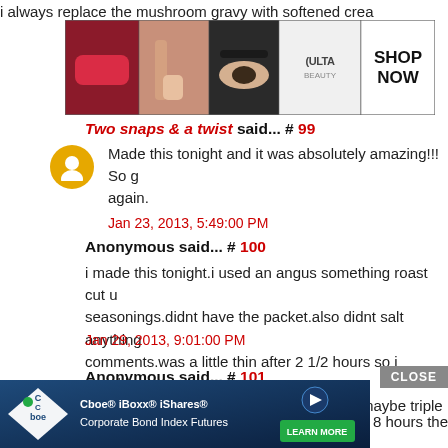i always replace the mushroom gravy with softened crea
[Figure (screenshot): Ulta Beauty advertisement banner showing makeup photos and 'SHOP NOW' text]
Two snaps & a twist said... # 99
Made this tonight and it was absolutely amazing!!! So g again.
Jan 23, 2013, 5:49:00 PM
Anonymous said... # 100
i made this tonight.i used an angus something roast cut u seasonings.didnt have the packet.also didnt salt anything comments.was a little thin after 2 1/2 hours so i sprinkle turned out amazing.none left.i will double maybe triple
Jan 29, 2013, 9:01:00 PM
Anonymous said... # 101
[Figure (screenshot): Cboe iBoxx iShares Corporate Bond Index Futures advertisement with close button]
8 hours the